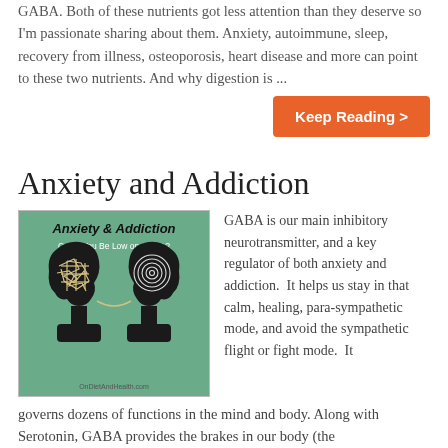GABA. Both of these nutrients got less attention than they deserve so I'm passionate sharing about them. Anxiety, autoimmune, sleep, recovery from illness, osteoporosis, heart disease and more can point to these two nutrients. And why digestion is ...
Keep Reading >
Anxiety and Addiction
[Figure (illustration): Illustration showing two silhouette heads facing each other on a green background. The left head has a chaotic scribble pattern inside. The right head has concentric spiral circles inside. Text reads 'Anxiety & Addiction - Could You Be Low on GABA?' with 'OnDietAndHealth.com' at the bottom.]
GABA is our main inhibitory neurotransmitter, and a key regulator of both anxiety and addiction.  It helps us stay in that calm, healing, para-sympathetic mode, and avoid the sympathetic flight or fight mode.  It governs dozens of functions in the mind and body. Along with Serotonin, GABA provides the brakes in our body (the